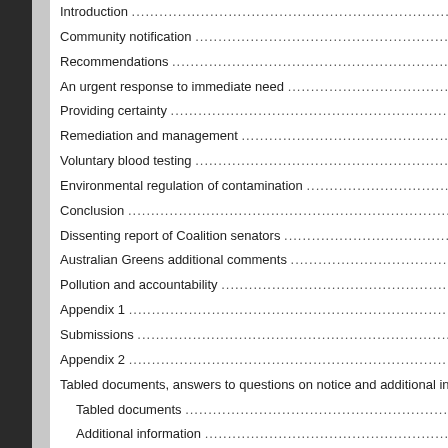Introduction ....................................................................................................................
Community notification .....................................................................................................
Recommendations ...........................................................................................................
An urgent response to immediate need ..............................................................................
Providing certainty ...........................................................................................................
Remediation and management ...........................................................................................
Voluntary blood testing .....................................................................................................
Environmental regulation of contamination ..........................................................................
Conclusion .......................................................................................................................
Dissenting report of Coalition senators ................................................................................
Australian Greens additional comments ...............................................................................
Pollution and accountability ...............................................................................................
Appendix 1 .......................................................................................................................
Submissions .....................................................................................................................
Appendix 2 .......................................................................................................................
Tabled documents, answers to questions on notice and additional informa
Tabled documents ............................................................................................................
Additional information ........................................................................................................
vii
Answers to questions on notice ..........................................................................................